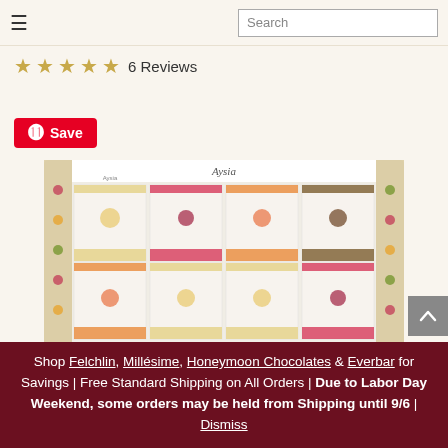☰  Search
★★★★★ 6 Reviews
Save (Pinterest button)
[Figure (photo): A box of assorted chocolate bars arranged in a grid pattern (8 bars visible, 2 rows of 4), decorated with floral/berry motifs on the border. Brand appears to be Aysu or similar.]
Shop Felchlin, Millésime, Honeymoon Chocolates & Everbar for Savings | Free Standard Shipping on All Orders | Due to Labor Day Weekend, some orders may be held from Shipping until 9/6 | Dismiss